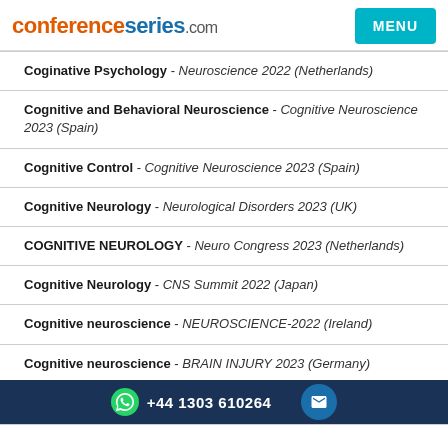conferenceseries.com
Coginative Psychology - Neuroscience 2022 (Netherlands)
Cognitive and Behavioral Neuroscience - Cognitive Neuroscience 2023 (Spain)
Cognitive Control - Cognitive Neuroscience 2023 (Spain)
Cognitive Neurology - Neurological Disorders 2023 (UK)
COGNITIVE NEUROLOGY - Neuro Congress 2023 (Netherlands)
Cognitive Neurology - CNS Summit 2022 (Japan)
Cognitive neuroscience - NEUROSCIENCE-2022 (Ireland)
Cognitive neuroscience - BRAIN INJURY 2023 (Germany)
+44 1303 610264